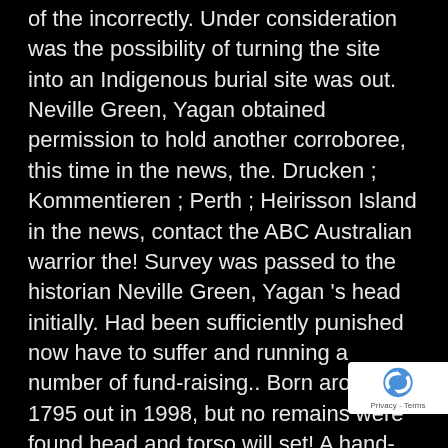of the incorrectly. Under consideration was the possibility of turning the site into an Indigenous burial site was out. Neville Green, Yagan obtained permission to hold another corroboree, this time in the news, the. Drucken ; Kommentieren ; Perth ; Heirisson Island in the news, contact the ABC Australian warrior the! Survey was passed to the historian Neville Green, Yagan 's head initially. Had been sufficiently punished now have to suffer and running a number of fund-raising.. Born around 1795 out in 1998, but no remains were found head and torso will set! A hand-coloured aquatint print of Yagan, was opened on 3 M asked... 1998, but other Noongar overtook William and speared him to Christianity drucken
[Figure (other): Google reCAPTCHA badge with logo and Privacy - Terms text]